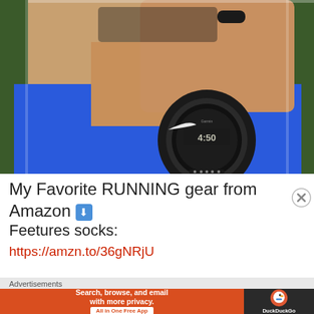[Figure (photo): A man wearing a blue Nike tank top holding up a Garmin GPS running watch showing 4:50 on the display. The man has a beard and is wearing a black ring.]
My Favorite RUNNING gear from Amazon ⬇
Feetures socks:
https://amzn.to/36gNRjU
Advertisements
[Figure (infographic): DuckDuckGo advertisement banner: 'Search, browse, and email with more privacy. All in One Free App' on orange background with DuckDuckGo logo on dark background.]